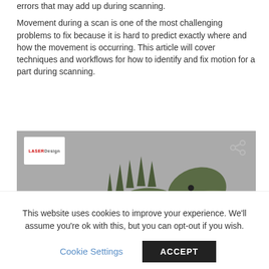errors that may add up during scanning.
Movement during a scan is one of the most challenging problems to fix because it is hard to predict exactly where and how the movement is occurring. This article will cover techniques and workflows for how to identify and fix motion for a part during scanning.
[Figure (photo): A green Godzilla monster figurine posed against a grey background, shown from roughly the waist up with mouth open. A logo reading 'LaserDesign' appears in the top left corner of the image, and a share icon appears in the top right.]
This website uses cookies to improve your experience. We'll assume you're ok with this, but you can opt-out if you wish.
Cookie Settings   ACCEPT